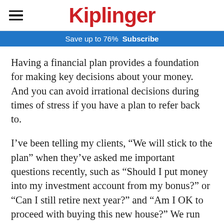Kiplinger
Save up to 76%  Subscribe
Having a financial plan provides a foundation for making key decisions about your money. And you can avoid irrational decisions during times of stress if you have a plan to refer back to.
I’ve been telling my clients, “We will stick to the plan” when they’ve asked me important questions recently, such as “Should I put money into my investment account from my bonus?” or “Can I still retire next year?” and “Am I OK to proceed with buying this new house?” We run probability analyses to factor in good